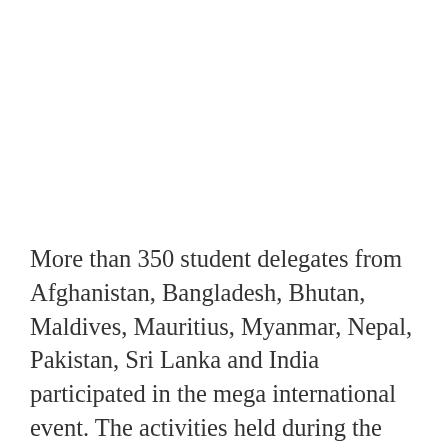More than 350 student delegates from Afghanistan, Bangladesh, Bhutan, Maldives, Mauritius, Myanmar, Nepal, Pakistan, Sri Lanka and India participated in the mega international event. The activities held during the SAUFEST 2015 included cultural events, exhibitions, international symposium, intellectual discourses, young artists� camps, seminars and adventure programmes.